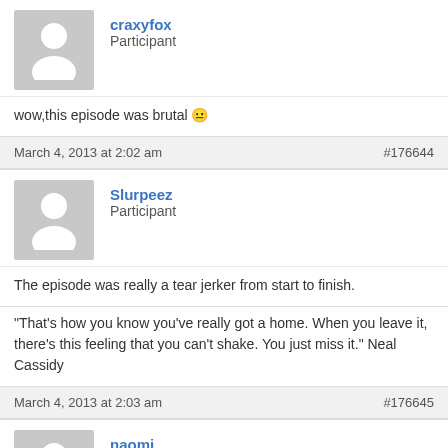[Figure (illustration): Default user avatar for craxyfox]
craxyfox
Participant
wow,this episode was brutal 😐
March 4, 2013 at 2:02 am
#176644
[Figure (illustration): Default user avatar for Slurpeez]
Slurpeez
Participant
The episode was really a tear jerker from start to finish.
"That's how you know you've really got a home. When you leave it, there's this feeling that you can't shake. You just miss it." Neal Cassidy
March 4, 2013 at 2:03 am
#176645
[Figure (illustration): Default user avatar for naomi]
naomi
Participant